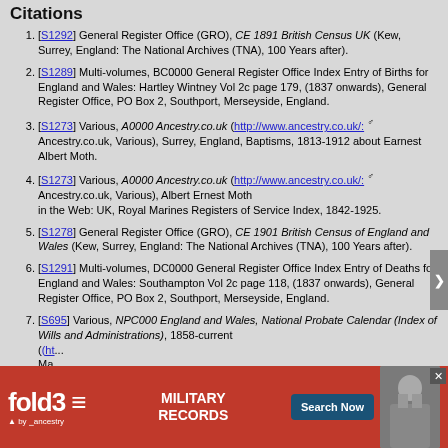Citations
[S1292] General Register Office (GRO), CE 1891 British Census UK (Kew, Surrey, England: The National Archives (TNA), 100 Years after).
[S1289] Multi-volumes, BC0000 General Register Office Index Entry of Births for England and Wales: Hartley Wintney Vol 2c page 179, (1837 onwards), General Register Office, PO Box 2, Southport, Merseyside, England.
[S1273] Various, A0000 Ancestry.co.uk (http://www.ancestry.co.uk/: Ancestry.co.uk, Various), Surrey, England, Baptisms, 1813-1912 about Earnest Albert Moth.
[S1273] Various, A0000 Ancestry.co.uk (http://www.ancestry.co.uk/: Ancestry.co.uk, Various), Albert Ernest Moth in the Web: UK, Royal Marines Registers of Service Index, 1842-1925.
[S1278] General Register Office (GRO), CE 1901 British Census of England and Wales (Kew, Surrey, England: The National Archives (TNA), 100 Years after).
[S1291] Multi-volumes, DC0000 General Register Office Index Entry of Deaths for England and Wales: Southampton Vol 2c page 118, (1837 onwards), General Register Office, PO Box 2, Southport, Merseyside, England.
[S695] Various, NPC000 England and Wales, National Probate Calendar (Index of Wills and Administrations), 1858-current (http://...
[Figure (screenshot): Fold3 Military Records advertisement banner with red background, logo, Search Now button, and soldier photo]